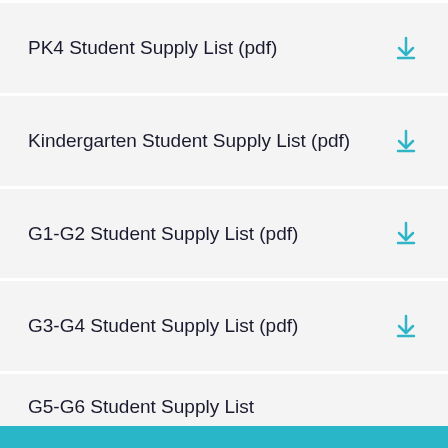PK4 Student Supply List (pdf)
Kindergarten Student Supply List (pdf)
G1-G2 Student Supply List (pdf)
G3-G4 Student Supply List (pdf)
G5-G6 Student Supply List